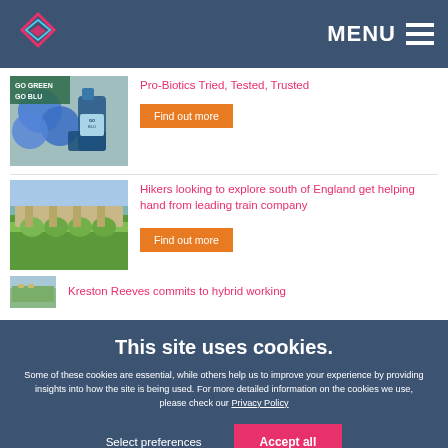MENU
Pro-Biotics Tried, Tested, Trusted
Find out more
Hikers looking to explore south of England get helping hand from leading train company
Find out more
Kreston Reeves commits to hybrid working
This site uses cookies.
Some of these cookies are essential, while others help us to improve your experience by providing insights into how the site is being used. For more detailed information on the cookies we use, please check our Privacy Policy
Select preferences
Accept all